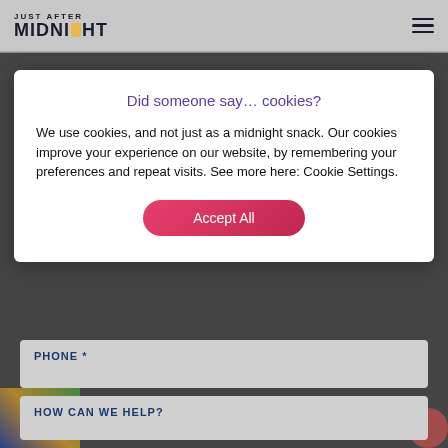JUST AFTER MIDNIGHT
Did someone say… cookies?
We use cookies, and not just as a midnight snack. Our cookies improve your experience on our website, by remembering your preferences and repeat visits. See more here: Cookie Settings.
Accept All
PHONE *
HOW CAN WE HELP?